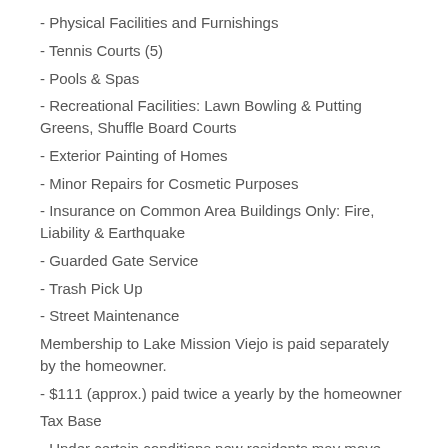- Physical Facilities and Furnishings
- Tennis Courts (5)
- Pools & Spas
- Recreational Facilities: Lawn Bowling & Putting Greens, Shuffle Board Courts
- Exterior Painting of Homes
- Minor Repairs for Cosmetic Purposes
- Insurance on Common Area Buildings Only: Fire, Liability & Earthquake
- Guarded Gate Service
- Trash Pick Up
- Street Maintenance
Membership to Lake Mission Viejo is paid separately by the homeowner.
- $111 (approx.) paid twice a yearly by the homeowner
Tax Base
- Under certain conditions new residents may move their